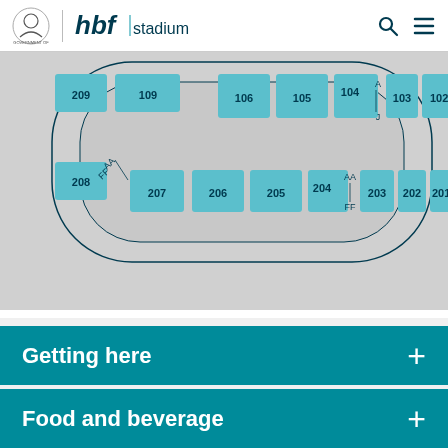HBF Stadium
[Figure (map): Stadium seating map showing sections 201-209, 101-109, with AA/FF and A/J row markers. Sections shown in teal/cyan color on a light grey background with oval stadium outline.]
Getting here +
Food and beverage +